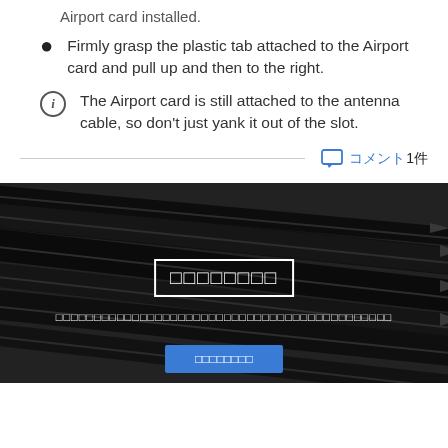Airport card installed.
Firmly grasp the plastic tab attached to the Airport card and pull up and then to the right.
The Airport card is still attached to the antenna cable, so don't just yank it out of the slot.
コメント 1件
[Figure (photo): Black and white photo of multiple dark pencils arranged diagonally, with overlaid Japanese text and a blue button at the bottom.]